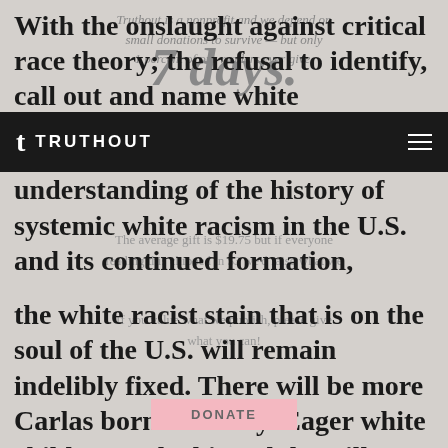With the onslaught against critical race theory; the refusal to identify, call out and name white understanding of the history of systemic white racism in the U.S. and its continued formation, the white racist stain that is on the soul of the U.S. will remain indelibly fixed. There will be more Carlas born each day. Eager white children and white adults will learn the lie of what it means to be white.
TRUTHOUT
That lie involves zero-sum logics, that there are non-white “others” out there whose sole